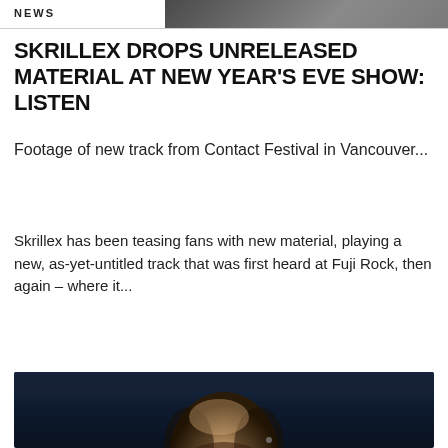NEWS
[Figure (photo): Partial photo of a person wearing dark clothing, visible at top right of page]
SKRILLEX DROPS UNRELEASED MATERIAL AT NEW YEAR'S EVE SHOW: LISTEN
Footage of new track from Contact Festival in Vancouver...
Skrillex has been teasing fans with new material, playing a new, as-yet-untitled track that was first heard at Fuji Rock, then again – where it...
[Figure (photo): Close-up photo of a bald performer looking upward against a dark blue background, with a microphone earpiece visible]